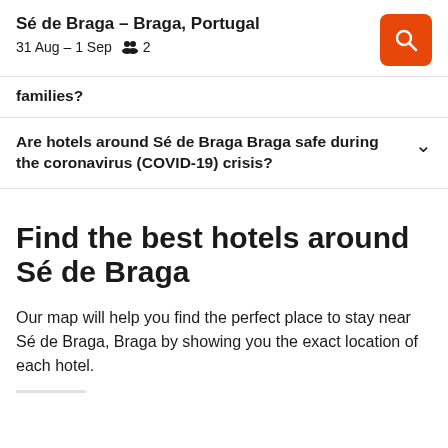Sé de Braga – Braga, Portugal
31 Aug – 1 Sep   2
families?
Are hotels around Sé de Braga Braga safe during the coronavirus (COVID-19) crisis?
Find the best hotels around Sé de Braga
Our map will help you find the perfect place to stay near Sé de Braga, Braga by showing you the exact location of each hotel.